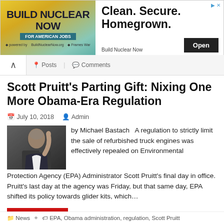[Figure (screenshot): Advertisement banner for Build Nuclear Now — left side has yellow/teal gradient with 'BUILD NUCLEAR NOW FOR AMERICAN JOBS' text; right side has 'Clean. Secure. Homegrown.' headline with Open button]
Scott Pruitt's Parting Gift: Nixing One More Obama-Era Regulation
July 10, 2018   Admin
[Figure (photo): Photo of Scott Pruitt pointing finger upward, wearing suit]
by Michael Bastach   A regulation to strictly limit the sale of refurbished truck engines was effectively repealed on Environmental Protection Agency (EPA) Administrator Scott Pruitt's final day in office. Pruitt's last day at the agency was Friday, but that same day, EPA shifted its policy towards glider kits, which…
READ MORE
News   EPA, Obama administration, regulation, Scott Pruitt